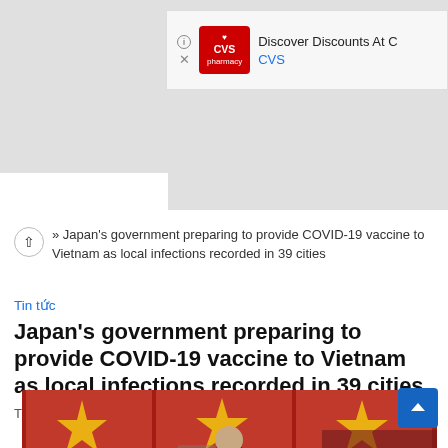[Figure (screenshot): CVS Pharmacy advertisement banner showing CVS logo in red with heart symbol, 'Discover Discounts At C' text, and 'CVS' link in blue]
» Japan's government preparing to provide COVID-19 vaccine to Vietnam as local infections recorded in 39 cities
Tin tức
Japan's government preparing to provide COVID-19 vaccine to Vietnam as local infections recorded in 39 cities
Tháng Sáu 5, 2021
[Figure (photo): Photo of a man in dark suit standing in front of Vietnamese national flags (red with yellow star), likely a government official or press conference setting]